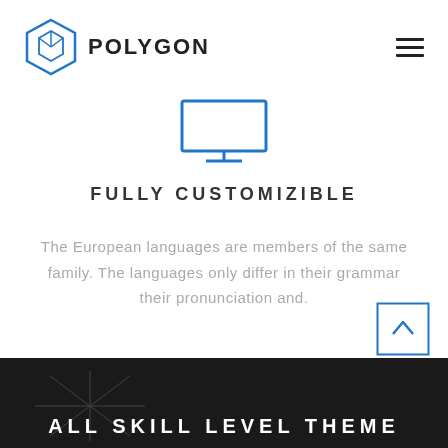[Figure (logo): Polygon brand logo: hexagonal icon in blue outline with a 3D cube/diamond shape inside, followed by bold text POLYGON]
[Figure (illustration): Blue outline icon of a computer monitor with a small stand, line art style]
FULLY CUSTOMIZIBLE
The European languages are members of the same family. The languages only differ in their grammar their pronunciation and.
[Figure (illustration): Back to top button: blue square border with an upward pointing chevron/caret in blue]
[Figure (illustration): Dark footer section showing a faint diamond/star line art graphic and the beginning of the text ALL SKILL LEVEL THEME in white uppercase letters]